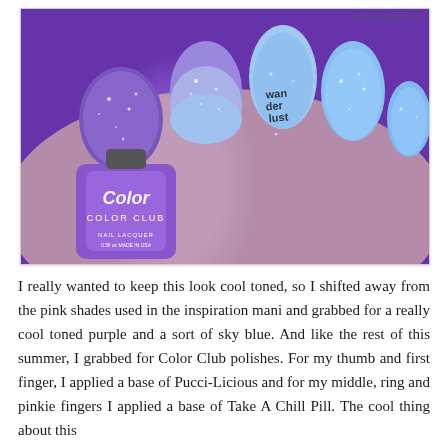[Figure (photo): Close-up photo of a hand holding a purple Color Club nail lacquer bottle. The nails show an ombre effect from purple/violet glitter to light sky blue, with one nail featuring a 'wanderlust' text stamp in black.]
I really wanted to keep this look cool toned, so I shifted away from the pink shades used in the inspiration mani and grabbed for a really cool toned purple and a sort of sky blue. And like the rest of this summer, I grabbed for Color Club polishes. For my thumb and first finger, I applied a base of Pucci-Licious and for my middle, ring and pinkie fingers I applied a base of Take A Chill Pill. The cool thing about this